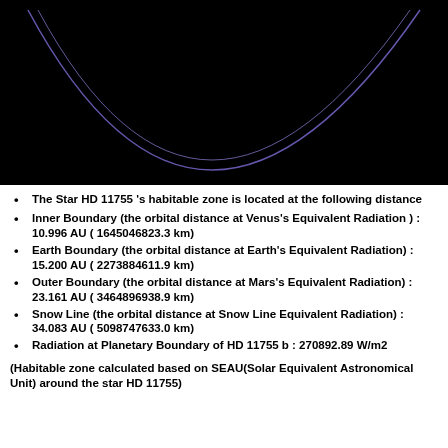[Figure (continuous-plot): Black background astronomical diagram showing a curved blue/purple arc representing the habitable zone boundary or orbital path of star HD 11755, viewed from above. The arc curves upward from lower left, dips to a lowest point near center-left, then curves up to the right edge.]
The Star HD 11755 's habitable zone is located at the following distance
Inner Boundary (the orbital distance at Venus's Equivalent Radiation ) : 10.996 AU ( 1645046823.3 km)
Earth Boundary (the orbital distance at Earth's Equivalent Radiation) : 15.200 AU ( 2273884611.9 km)
Outer Boundary (the orbital distance at Mars's Equivalent Radiation) : 23.161 AU ( 3464896938.9 km)
Snow Line (the orbital distance at Snow Line Equivalent Radiation) : 34.083 AU ( 5098747633.0 km)
Radiation at Planetary Boundary of HD 11755 b : 270892.89 W/m2
(Habitable zone calculated based on SEAU(Solar Equivalent Astronomical Unit) around the star HD 11755)